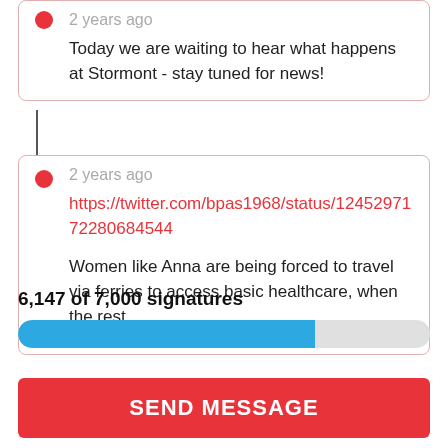2 years ago
Today we are waiting to hear what happens at Stormont - stay tuned for news!
2 years ago
https://twitter.com/bpas1968/status/1245297172280684544
Women like Anna are being forced to travel via ferries to access basic healthcare, when the rest
6,147 of 7,000 signatures
[Figure (other): Progress bar showing 6,147 of 7,000 signatures filled approximately 72% in blue]
SEND MESSAGE